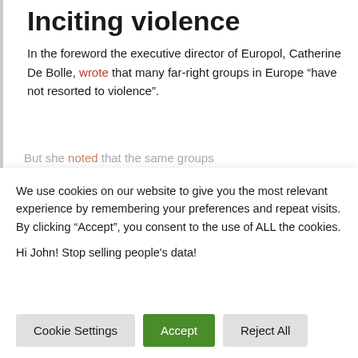Inciting violence
In the foreword the executive director of Europol, Catherine De Bolle, wrote that many far-right groups in Europe “have not resorted to violence”.
But she noted that the same groups
We use cookies on our website to give you the most relevant experience by remembering your preferences and repeat visits. By clicking “Accept”, you consent to the use of ALL the cookies.
Hi John! Stop selling people's data!